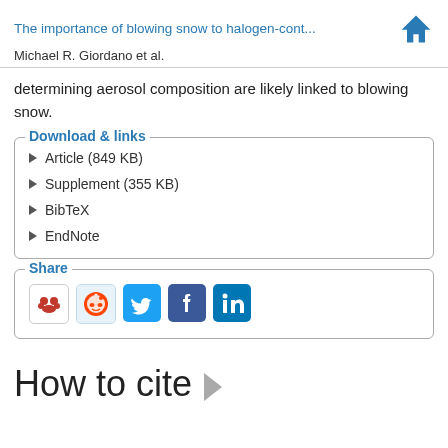The importance of blowing snow to halogen-cont...
Michael R. Giordano et al.
determining aerosol composition are likely linked to blowing snow.
Download & links
Article (849 KB)
Supplement (355 KB)
BibTeX
EndNote
Share
[Figure (infographic): Row of social sharing icons: Mendeley (red bears), Reddit (alien), Twitter (bird), Facebook (f), LinkedIn (in)]
How to cite ▶